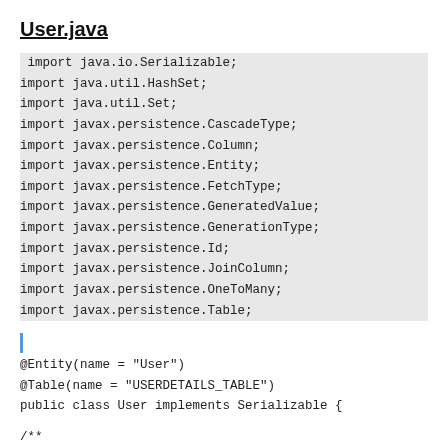User.java
import java.io.Serializable;
import java.util.HashSet;
import java.util.Set;
import javax.persistence.CascadeType;
import javax.persistence.Column;
import javax.persistence.Entity;
import javax.persistence.FetchType;
import javax.persistence.GeneratedValue;
import javax.persistence.GenerationType;
import javax.persistence.Id;
import javax.persistence.JoinColumn;
import javax.persistence.OneToMany;
import javax.persistence.Table;
@Entity(name = "User")
@Table(name = "USERDETAILS_TABLE")
public class User implements Serializable {
/**